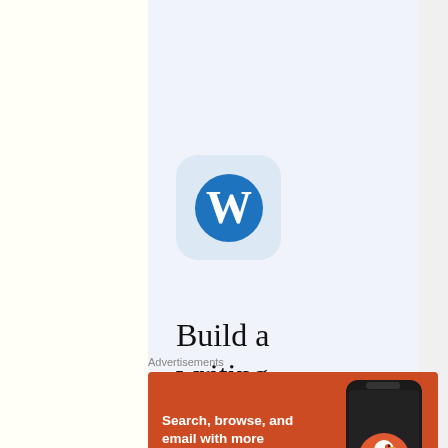[Figure (logo): WordPress app icon — rounded square with light blue background and white W logo]
Build a writing habit. Post on the go.
Advertisements
[Figure (infographic): DuckDuckGo advertisement banner with orange background. Text: 'Search, browse, and email with more privacy. All in One Free App'. Shows a smartphone with DuckDuckGo logo and wordmark.]